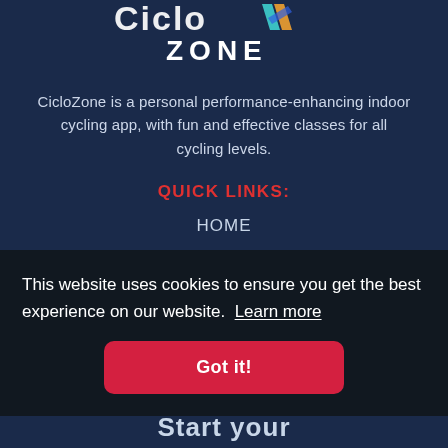[Figure (logo): CicloZone logo — stylized 'Ciclo' wordmark in white with a multicolor chevron/bolt icon, and 'ZONE' in white capital letters below]
CicloZone is a personal performance-enhancing indoor cycling app, with fun and effective classes for all cycling levels.
QUICK LINKS:
HOME
BLOG
CONTACT
This website uses cookies to ensure you get the best experience on our website.  Learn more
Got it!
Start your